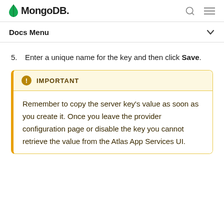MongoDB
Docs Menu
5. Enter a unique name for the key and then click Save.
IMPORTANT
Remember to copy the server key's value as soon as you create it. Once you leave the provider configuration page or disable the key you cannot retrieve the value from the Atlas App Services UI.